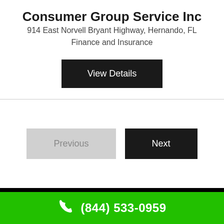Consumer Group Service Inc
914 East Norvell Bryant Highway, Hernando, FL
Finance and Insurance
View Details
Previous
Next
(844) 533-0959